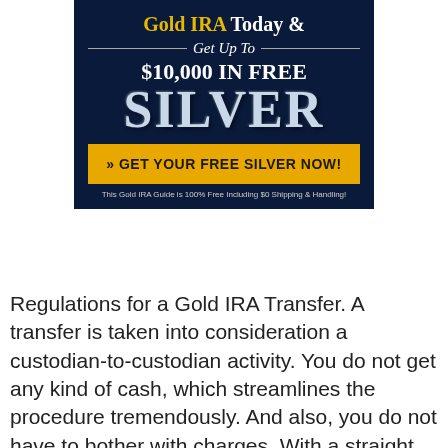[Figure (infographic): Gold IRA advertisement banner with dark blue background. Text reads 'Gold IRA Today & Get Up To $10,000 IN FREE SILVER' with a yellow button 'GET YOUR FREE SILVER NOW!' and disclaimer text at the bottom.]
Regulations for a Gold IRA Transfer. A transfer is taken into consideration a custodian-to-custodian activity. You do not get any kind of cash, which streamlines the procedure tremendously. And also, you do not have to bother with charges. With a straight individual retirement account transfer, the 60-day transfer policy never